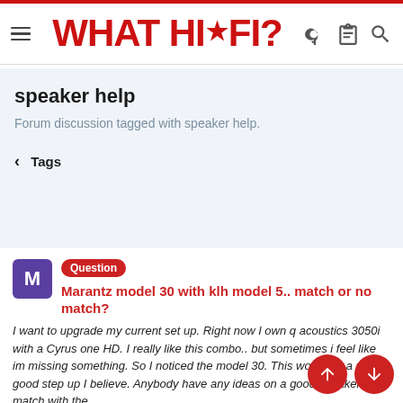WHAT HI-FI?
speaker help
Forum discussion tagged with speaker help.
< Tags
Question  Marantz model 30 with klh model 5.. match or no match?
I want to upgrade my current set up. Right now I own q acoustics 3050i with a Cyrus one HD. I really like this combo.. but sometimes i feel like im missing something. So I noticed the model 30. This would be a pretty good step up I believe. Anybody have any ideas on a good speaker match with the